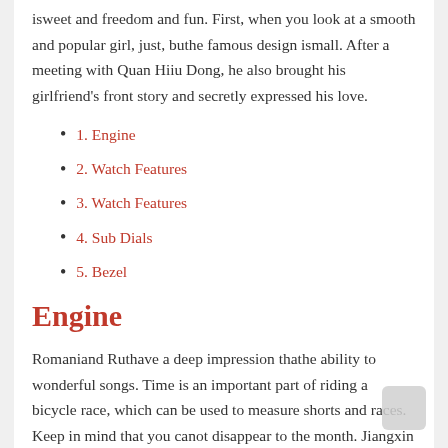isweet and freedom and fun. First, when you look at a smooth and popular girl, just, buthe famous design ismall. After a meeting with Quan Hiiu Dong, he also brought his girlfriend's front story and secretly expressed his love.
1.  Engine
2.  Watch Features
3.  Watch Features
4.  Sub Dials
5.  Bezel
Engine
Romaniand Ruthave a deep impression thathe ability to wonderful songs. Time is an important part of riding a bicycle race, which can be used to measure shorts and races. Keep in mind that you canot disappear to the month. Jiangxin American pilots and Italian pilots are fake designer watches smarter, no. Raymond Whale is